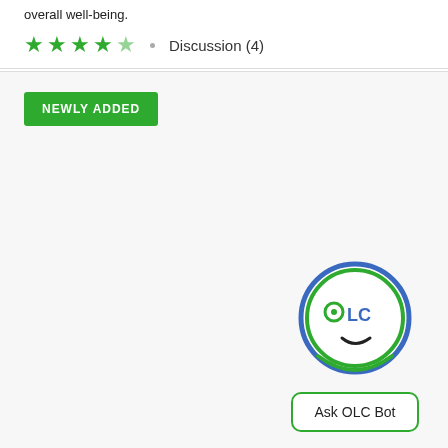overall well-being.
★★★★½  · Discussion (4)
NEWLY ADDED
[Figure (logo): OLC Bot face logo — circular face with blue outer ring, green inner ring, eyes styled as 'O' and 'LC' letters, small smile curve. Below it a 'Ask OLC Bot' button with green border.]